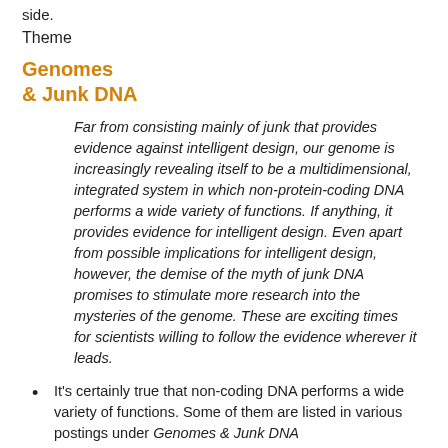side.
Theme
Genomes & Junk DNA
Far from consisting mainly of junk that provides evidence against intelligent design, our genome is increasingly revealing itself to be a multidimensional, integrated system in which non-protein-coding DNA performs a wide variety of functions. If anything, it provides evidence for intelligent design. Even apart from possible implications for intelligent design, however, the demise of the myth of junk DNA promises to stimulate more research into the mysteries of the genome. These are exciting times for scientists willing to follow the evidence wherever it leads.
It's certainly true that non-coding DNA performs a wide variety of functions. Some of them are listed in various postings under Genomes & Junk DNA